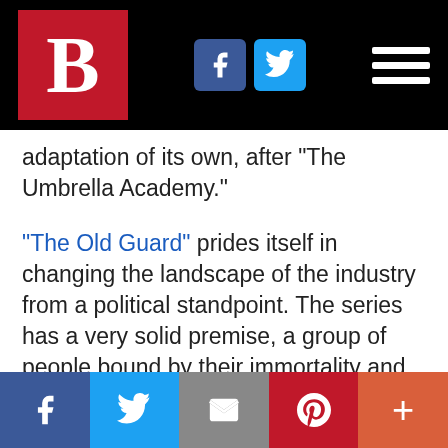B [logo] | Facebook | Twitter | Menu
adaptation of its own, after “The Umbrella Academy.”
“The Old Guard” prides itself in changing the landscape of the industry from a political standpoint. The series has a very solid premise, a group of people bound by their immortality and fighting to make the world a better place. Unfortunately, much like our characters, the film just won’t die, even when you want it to.
Facebook | Twitter | Email | Pinterest | More